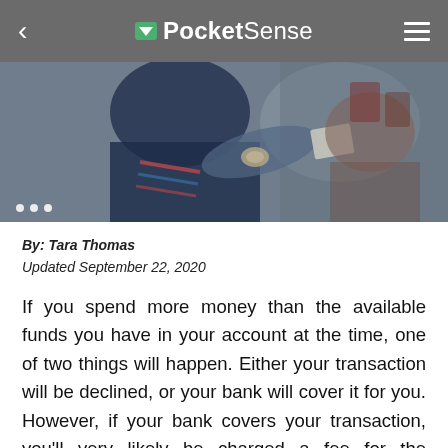PocketSense
[Figure (photo): Person in a store handing or receiving paper/document across a counter, blurred background with shop items]
By: Tara Thomas
Updated September 22, 2020
If you spend more money than the available funds you have in your account at the time, one of two things will happen. Either your transaction will be declined, or your bank will cover it for you. However, if your bank covers your transaction, you'll very likely be charged a fee for the courtesy of not declining your transaction when you had insufficient funds